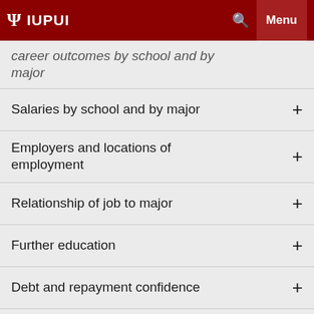IUPUI
career outcomes by school and by major +
Salaries by school and by major +
Employers and locations of employment +
Relationship of job to major +
Further education +
Debt and repayment confidence +
Internship participation +